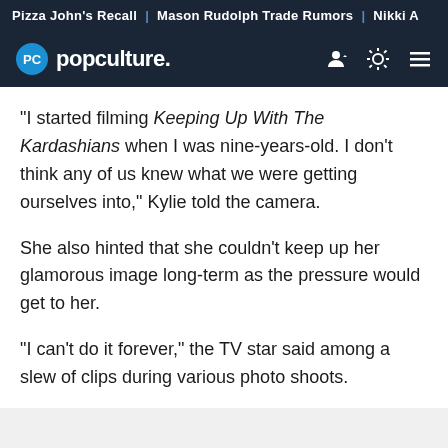Pizza John's Recall | Mason Rudolph Trade Rumors | Nikki A
[Figure (logo): PopCulture.com logo with navigation icons on dark navy background]
"I started filming Keeping Up With The Kardashians when I was nine-years-old. I don't think any of us knew what we were getting ourselves into," Kylie told the camera.
She also hinted that she couldn't keep up her glamorous image long-term as the pressure would get to her.
"I can't do it forever," the TV star said among a slew of clips during various photo shoots.